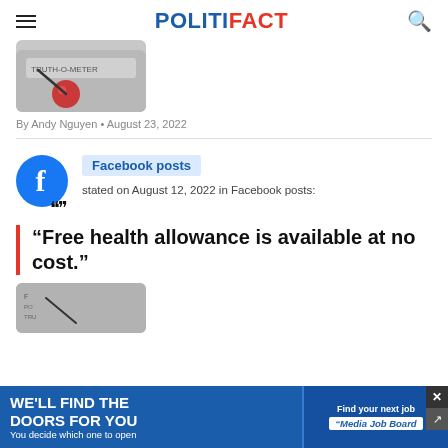POLITIFACT
[Figure (photo): Partially visible PolitiFact Truth-O-Meter gauge image with red button]
By Andy Nguyen • August 23, 2022
[Figure (logo): Facebook logo (blue circle with white F)]
Facebook posts
stated on August 12, 2022 in Facebook posts:
“Free health allowance is available at no cost.”
[Figure (photo): Partially visible PolitiFact Truth-O-Meter image at bottom]
[Figure (infographic): Advertisement banner: WE'LL FIND THE DOORS FOR YOU / You decide which one to open | Find your next job - Media Job Board]